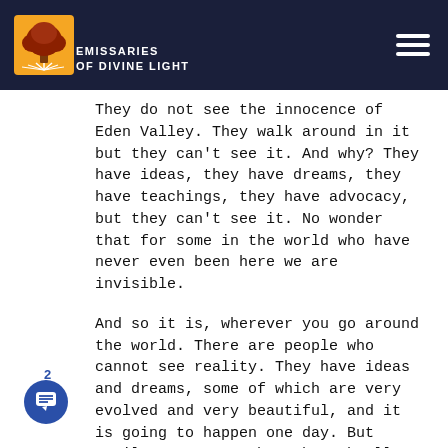Emissaries of Divine Light
They do not see the innocence of Eden Valley. They walk around in it but they can't see it. And why? They have ideas, they have dreams, they have teachings, they have advocacy, but they can't see it. No wonder that for some in the world who have never even been here we are invisible.
And so it is, wherever you go around the world. There are people who cannot see reality. They have ideas and dreams, some of which are very evolved and very beautiful, and it is going to happen one day. But until a person pushes through all the façade of their life, including all espoused ideas and all the teachings and all the